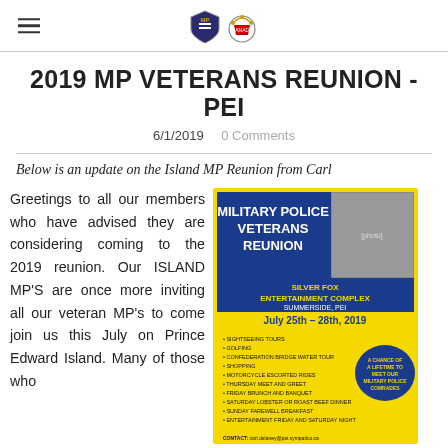[hamburger menu icon] [Military Police Veterans logos]
2019 MP VETERANS REUNION - PEI
6/1/2019   0 Comments
Below is an update on the Island MP Reunion from Carl
Greetings to all our members who have advised they are considering coming to the 2019 reunion. Our ISLAND MP'S are once more inviting all our veteran MP's to come join us this July on Prince Edward Island. Many of those who
[Figure (flyer): Military Police Veterans Reunion flyer. Blue and yellow design. Silver Fox Entertainment Complex, Summerside, PEI. July 25th - 28th, 2019. Activities: sightseeing tours, golfing, confederation bridge water tour, shopping, motorcycle escorted rides, Thursday meet and greet, Friday brunch and banquet, Saturday lobster or roast beef dinner, Sunday farewell breakfast, entertainment Friday and Saturday night. Contact: carl.delaney@pei.sympatico.ca]